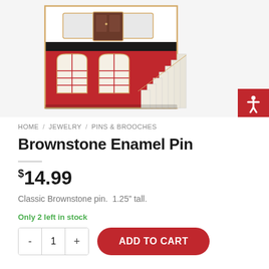[Figure (photo): Brownstone enamel pin product photo showing a red and gold enamel pin of a brownstone building with red facade, windows, door, and front stoop stairs]
HOME / JEWELRY / PINS & BROOCHES
Brownstone Enamel Pin
$14.99
Classic Brownstone pin.  1.25" tall.
Only 2 left in stock
ADD TO CART